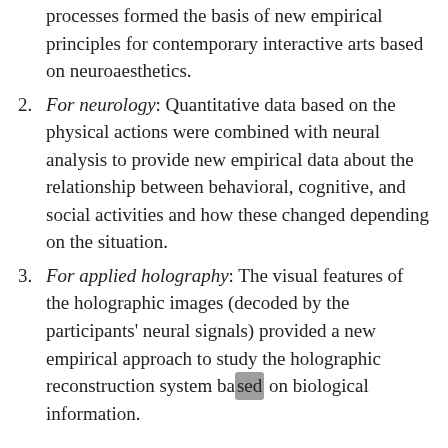(continuation) processes formed the basis of new empirical principles for contemporary interactive arts based on neuroaesthetics.
2. For neurology: Quantitative data based on the physical actions were combined with neural analysis to provide new empirical data about the relationship between behavioral, cognitive, and social activities and how these changed depending on the situation.
3. For applied holography: The visual features of the holographic images (decoded by the participants' neural signals) provided a new empirical approach to study the holographic reconstruction system based on biological information.